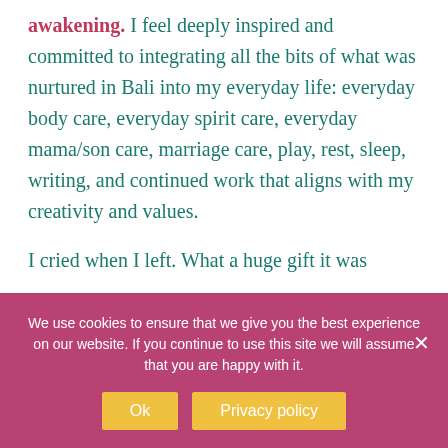awakening. I feel deeply inspired and committed to integrating all the bits of what was nurtured in Bali into my everyday life: everyday body care, everyday spirit care, everyday mama/son care, marriage care, play, rest, sleep, writing, and continued work that aligns with my creativity and values.

I cried when I left. What a huge gift it was
We use cookies to ensure that we give you the best experience on our website. If you continue to use this site we will assume that you are happy with it.